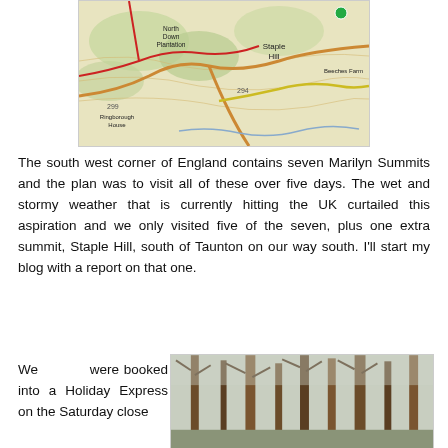[Figure (map): Ordnance Survey style map showing Staple Hill area with North Down Plantation, Ringborough House, Beeches Farm, road numbers 294 and 299, and a green marker dot]
The south west corner of England contains seven Marilyn Summits and the plan was to visit all of these over five days. The wet and stormy weather that is currently hitting the UK curtailed this aspiration and we only visited five of the seven, plus one extra summit, Staple Hill, south of Taunton on our way south. I'll start my blog with a report on that one.
We were booked into a Holiday Express on the Saturday close
[Figure (photo): Photograph of tall pine trees in a woodland, likely Staple Hill forest, taken looking upward with bare branches visible]